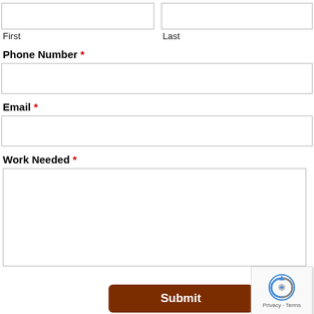First
Last
Phone Number *
Email *
Work Needed *
Submit